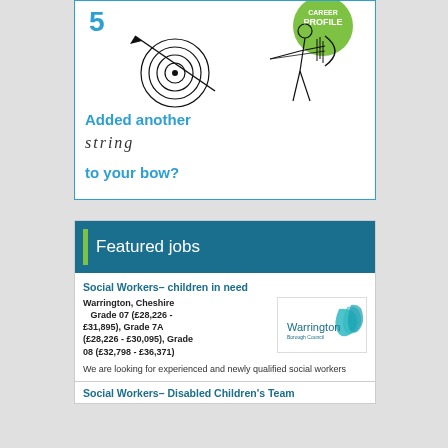[Figure (illustration): Advertisement with archery illustration showing a target with an arrow, and a person drawing a bow. Text reads 'Added another string to your bow?' with a green 'Profile' badge. Blue border box.]
Featured jobs
Social Workers– children in need
Warrington, Cheshire | Grade 07 (£28,226 - £31,895), Grade 7A (£28,226 - £30,095), Grade 08 (£32,798 - £36,371)
We are looking for experienced and newly qualified social workers
Social Workers– Disabled Children's Team...